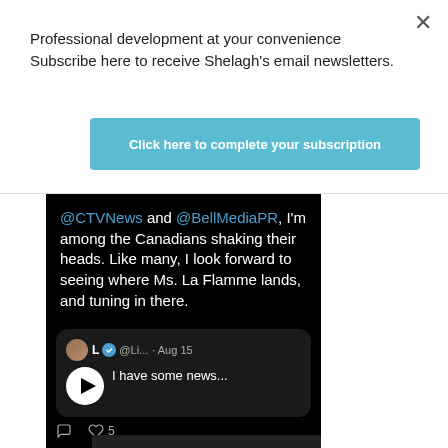Professional development at your convenience Subscribe here to receive Shelagh's email newsletters.
[Figure (screenshot): Blue button with white bold text: Click here to complete your subscription]
[Figure (screenshot): Twitter/social media screenshot on black background showing tweet mentioning @CTVNews and @BellMediaPR, text reads: I'm among the Canadians shaking their heads. Like many, I look forward to seeing where Ms. La Flamme lands, and tuning in there. Contains a quoted tweet from @Li... dated Aug 15 with play button icon and text 'I have some news...' plus engagement icons showing 5 likes.]